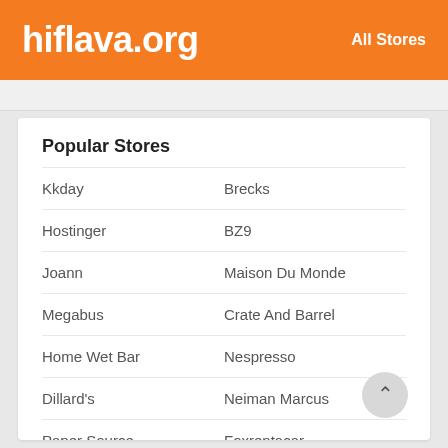hiflava.org   All Stores
Popular Stores
Kkday
Brecks
Hostinger
BZ9
Joann
Maison Du Monde
Megabus
Crate And Barrel
Home Wet Bar
Nespresso
Dillard's
Neiman Marcus
Paper Source
Foxrentacar